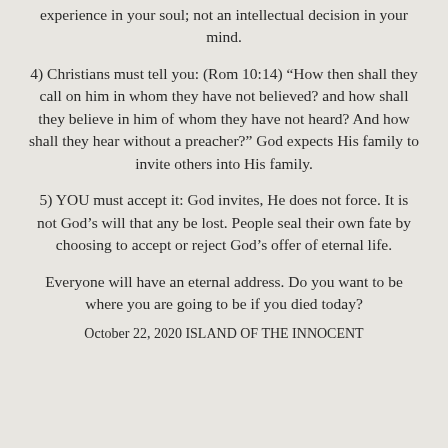experience in your soul; not an intellectual decision in your mind.
4) Christians must tell you: (Rom 10:14) “How then shall they call on him in whom they have not believed? and how shall they believe in him of whom they have not heard? And how shall they hear without a preacher?” God expects His family to invite others into His family.
5) YOU must accept it: God invites, He does not force. It is not God’s will that any be lost. People seal their own fate by choosing to accept or reject God’s offer of eternal life.
Everyone will have an eternal address. Do you want to be where you are going to be if you died today?
October 22, 2020 ISLAND OF THE INNOCENT